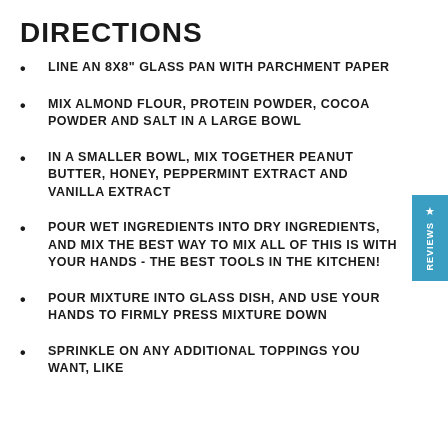DIRECTIONS
LINE AN 8X8" GLASS PAN WITH PARCHMENT PAPER
MIX ALMOND FLOUR, PROTEIN POWDER, COCOA POWDER AND SALT IN A LARGE BOWL
IN A SMALLER BOWL, MIX TOGETHER PEANUT BUTTER, HONEY, PEPPERMINT EXTRACT AND VANILLA EXTRACT
POUR WET INGREDIENTS INTO DRY INGREDIENTS, AND MIX THE BEST WAY TO MIX ALL OF THIS IS WITH YOUR HANDS - THE BEST TOOLS IN THE KITCHEN!
POUR MIXTURE INTO GLASS DISH, AND USE YOUR HANDS TO FIRMLY PRESS MIXTURE DOWN
SPRINKLE ON ANY ADDITIONAL TOPPINGS YOU WANT, LIKE